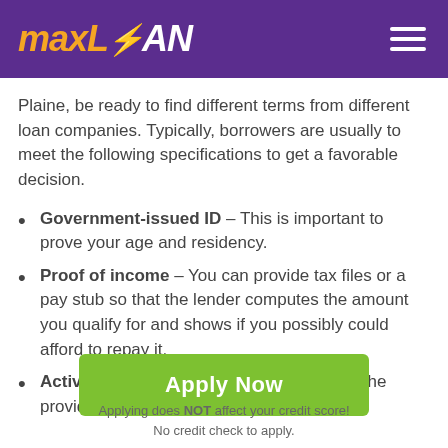maxLOAN
Plaine, be ready to find different terms from different loan companies. Typically, borrowers are usually to meet the following specifications to get a favorable decision.
Government-issued ID – This is important to prove your age and residency.
Proof of income – You can provide tax files or a pay stub so that the lender computes the amount you qualify for and shows if you possibly could afford to repay it.
Active checking account – This is where the provider
Apply Now
Applying does NOT affect your credit score!
No credit check to apply.